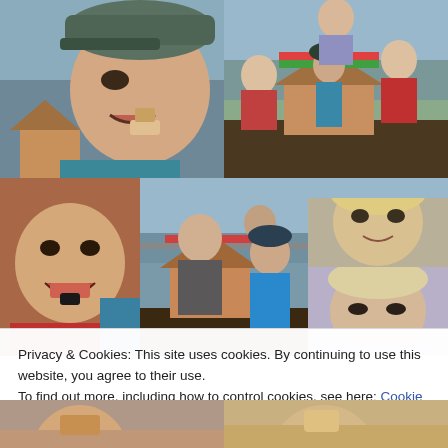[Figure (photo): Close-up of a boy wearing a grey cap eating something, with a gingerbread house visible in the background]
[Figure (photo): Group of children around a table with a gingerbread house, outdoors near water]
[Figure (photo): Young boy in red shirt with mouth open eating a cookie]
[Figure (photo): Woman and children decorating a gingerbread house on a deck overlooking water]
[Figure (photo): Blonde child looking at camera, upper right]
[Figure (photo): Young child looking down thoughtfully, lower right]
Privacy & Cookies: This site uses cookies. By continuing to use this website, you agree to their use.
To find out more, including how to control cookies, see here: Cookie Policy
Close and accept
[Figure (photo): Bottom strip showing partial view of children with cookies/gingerbread]
[Figure (photo): Bottom strip right side showing partial view of child with food]